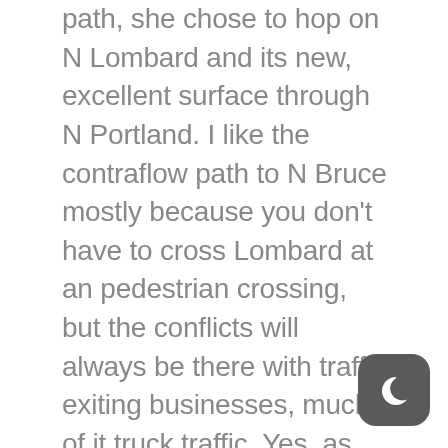path, she chose to hop on N Lombard and its new, excellent surface through N Portland. I like the contraflow path to N Bruce mostly because you don't have to cross Lombard at an pedestrian crossing, but the conflicts will always be there with traffic exiting businesses, much of it truck traffic. Yes, as many have noted, it would be ideal to have completely protected bike lanes in all directions, separated by something. But, I've ridden out N Lombard without any of that protection all days of the week and have never felt threatened. This area is unlikely to draw casual cyclists and kids, so I'm okay with it for now. My nit is that most of this has been in place for quite some time, yet two sections of the path are not finished. Why?
[Figure (illustration): Dark mode toggle icon — a rounded square with a crescent moon symbol in white on a dark gray background]